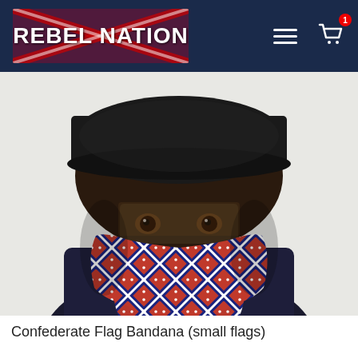REBEL NATION
[Figure (photo): Person wearing a Confederate flag pattern bandana covering the lower face, with a dark patterned cap. The bandana has a repeating pattern of Confederate battle flags (red with blue X and white stars). The person is wearing a dark sleeveless shirt.]
Confederate Flag Bandana (small flags)